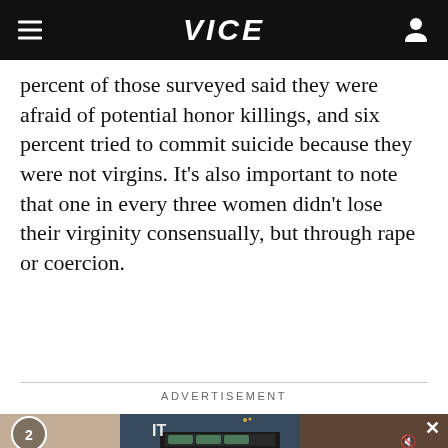VICE
percent of those surveyed said they were afraid of potential honor killings, and six percent tried to commit suicide because they were not virgins. It's also important to note that one in every three women didn't lose their virginity consensually, but through rape or coercion.
ADVERTISEMENT
[Figure (photo): Advertisement video frame showing a woman in a navy blue blazer holding a box, with a counter badge showing '2' in the bottom-left and a close X button in the top-right. A mute icon is visible in the bottom-right corner. Text overlay 'IT' visible on the video.]